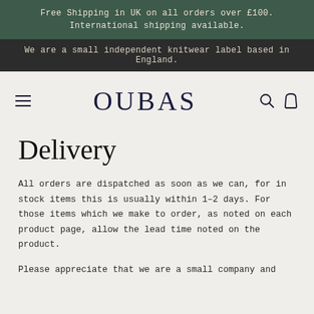Free Shipping in UK on all orders over £100. International shipping available.
We are a small independent knitwear label based in England.
OUBAS
Delivery
All orders are dispatched as soon as we can, for in stock items this is usually within 1–2 days. For those items which we make to order, as noted on each product page, allow the lead time noted on the product.
Please appreciate that we are a small company and